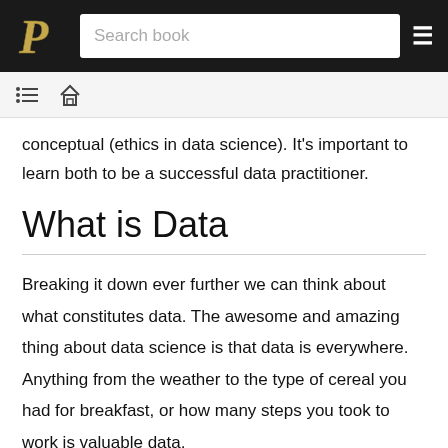[Purdue logo] Search book [menu]
conceptual (ethics in data science). It's important to learn both to be a successful data practitioner.
What is Data
Breaking it down ever further we can think about what constitutes data. The awesome and amazing thing about data science is that data is everywhere. Anything from the weather to the type of cereal you had for breakfast, or how many steps you took to work is valuable data.
This leads to a very broad definition. What data could b…